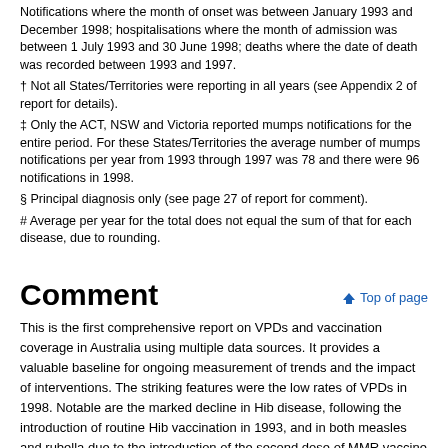Notifications where the month of onset was between January 1993 and December 1998; hospitalisations where the month of admission was between 1 July 1993 and 30 June 1998; deaths where the date of death was recorded between 1993 and 1997.
† Not all States/Territories were reporting in all years (see Appendix 2 of report for details).
‡ Only the ACT, NSW and Victoria reported mumps notifications for the entire period. For these States/Territories the average number of mumps notifications per year from 1993 through 1997 was 78 and there were 96 notifications in 1998.
§ Principal diagnosis only (see page 27 of report for comment).
# Average per year for the total does not equal the sum of that for each disease, due to rounding.
Comment
This is the first comprehensive report on VPDs and vaccination coverage in Australia using multiple data sources. It provides a valuable baseline for ongoing measurement of trends and the impact of interventions. The striking features were the low rates of VPDs in 1998. Notable are the marked decline in Hib disease, following the introduction of routine Hib vaccination in 1993, and in both measles and rubella due to the introduction of the second dose of MMR vaccine in 1994 and the Measles Control Campaign in 1998. Compared with deaths prior to the introduction of routine Hib vaccination, Hib deaths in children under the age of 5 years fell by 83 per cent, suggesting